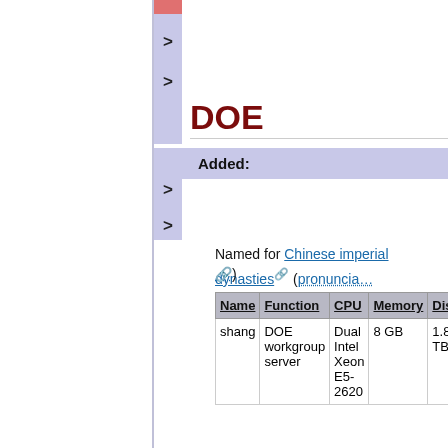DOE
Added:
Named for Chinese imperial dynasties (pronunciation)
| Name | Function | CPU | Memory | Disk |
| --- | --- | --- | --- | --- |
| shang | DOE workgroup server | Dual Intel Xeon E5-2620 | 8 GB | 1.8 TB |